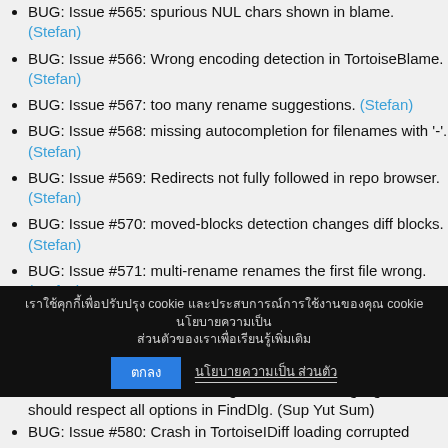BUG: Issue #565: spurious NUL chars shown in blame. (Stefan)
BUG: Issue #566: Wrong encoding detection in TortoiseBlame. (Stefan)
BUG: Issue #567: too many rename suggestions. (Stefan)
BUG: Issue #568: missing autocompletion for filenames with '-'. (Stefan)
BUG: Issue #569: Redirects not fully followed in repo browser. (Stefan)
BUG: Issue #570: moved-blocks detection changes diff blocks. (Stefan)
BUG: Issue #571: multi-rename renames the first file wrong. (Stefan)
BUG: Issue #573: Crash applying patch with urls. (Stefan)
BUG: Issue #576: TortoiseMerge: Double-click word should highlight whole word only. (Sup Yut Sum)
BUG: Issue #577: TortoiseMerge: LocationBar highlights should respect all options in FindDlg. (Sup Yut Sum)
BUG: Issue #580: Crash in TortoiseIDiff loading corrupted
Cookie consent bar with Thai text and OK / Learn more buttons